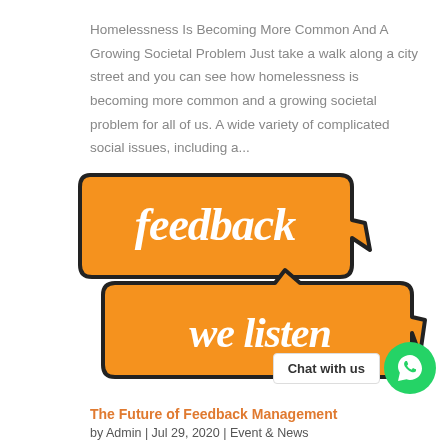Homelessness Is Becoming More Common And A Growing Societal Problem Just take a walk along a city street and you can see how homelessness is becoming more common and a growing societal problem for all of us. A wide variety of complicated social issues, including a...
[Figure (illustration): Two overlapping orange speech bubble banners with white italic text. Top bubble reads 'feedback', bottom bubble reads 'we listen'. Both have thick dark outlines.]
Chat with us
The Future of Feedback Management
by Admin | Jul 29, 2020 | Event & News